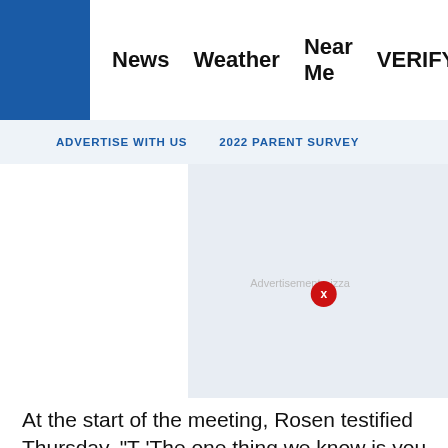News  Weather  Near Me  VERIFY
ADVERTISE WITH US   2022 PARENT SURVEY
[Figure (other): Advertisement placeholder area with 'Advertisement - izza' label and red X close button]
At the start of the meeting, Rosen testified Thursday, "T 'The one thing we know is you, Rosen, you aren't going agree with the claims of election fraud and this guy ot